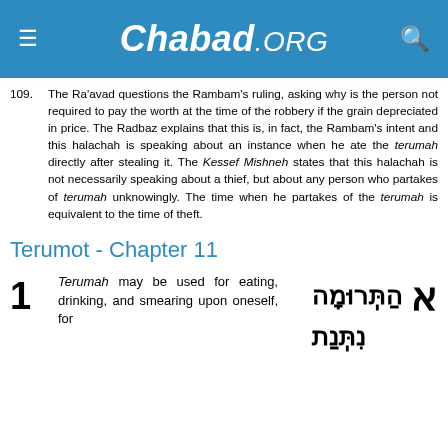Chabad.ORG
109. The Ra'avad questions the Rambam's ruling, asking why is the person not required to pay the worth at the time of the robbery if the grain depreciated in price. The Radbaz explains that this is, in fact, the Rambam's intent and this halachah is speaking about an instance when he ate the terumah directly after stealing it. The Kessef Mishneh states that this halachah is not necessarily speaking about a thief, but about any person who partakes of terumah unknowingly. The time when he partakes of the terumah is equivalent to the time of theft.
Terumot - Chapter 11
1 Terumah may be used for eating, drinking, and smearing upon oneself, for
א הַתְּרוּמָה נִתְּנַת